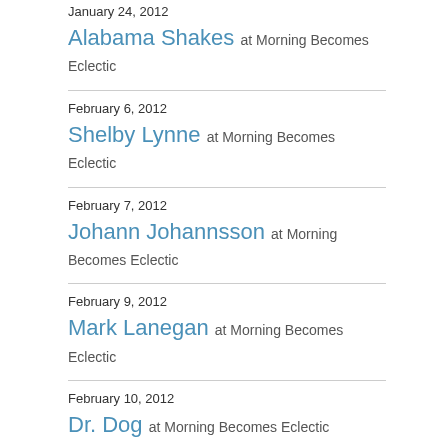January 24, 2012 — Alabama Shakes at Morning Becomes Eclectic
February 6, 2012 — Shelby Lynne at Morning Becomes Eclectic
February 7, 2012 — Johann Johannsson at Morning Becomes Eclectic
February 9, 2012 — Mark Lanegan at Morning Becomes Eclectic
February 10, 2012 — Dr. Dog at Morning Becomes Eclectic
February 13, 2012